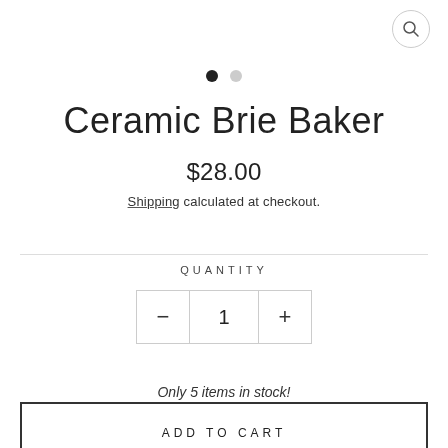[Figure (other): Search icon (magnifying glass) in a circular border, top right corner]
[Figure (other): Carousel navigation dots: one filled black dot and one grey dot]
Ceramic Brie Baker
$28.00
Shipping calculated at checkout.
QUANTITY
- 1 +
Only 5 items in stock!
ADD TO CART